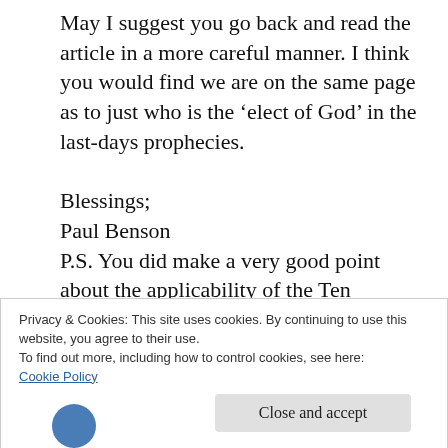May I suggest you go back and read the article in a more careful manner. I think you would find we are on the same page as to just who is the ‘elect of God’ in the last-days prophecies.

Blessings;
Paul Benson
P.S. You did make a very good point about the applicability of the Ten Commandments to those other than just the Jews who heard
Privacy & Cookies: This site uses cookies. By continuing to use this website, you agree to their use.
To find out more, including how to control cookies, see here: Cookie Policy
Close and accept